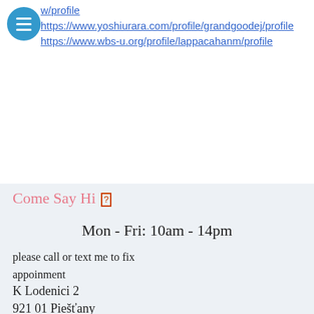w/profile
https://www.yoshiurara.com/profile/grandgoodej/profile
https://www.wbs-u.org/profile/lappacahanm/profile
Come Say Hi 🏠
Mon - Fri: 10am - 14pm
please call or text me to fix appoinment
K Lodenici 2
921 01 Piešťany